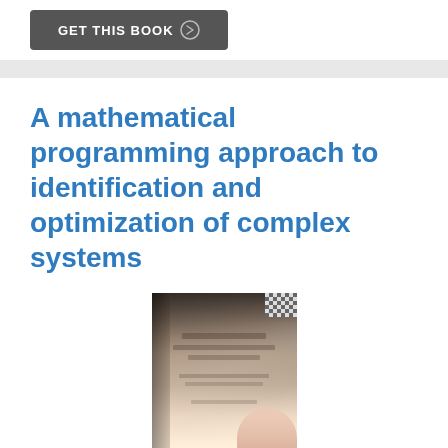[Figure (other): GET THIS BOOK button with dark gray background and white bold text, with a circular icon]
A mathematical programming approach to identification and optimization of complex systems
[Figure (photo): A photograph of a book held by a person, showing the book cover with text on a beige/tan background, with a checkered pattern in the top-right corner]